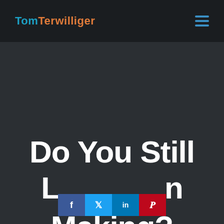Tom Terwilliger
Do You Still L[earn?] M[aking?]
[Figure (infographic): Social share buttons: Facebook (f), Twitter (bird icon), LinkedIn (in), Pinterest (p)]